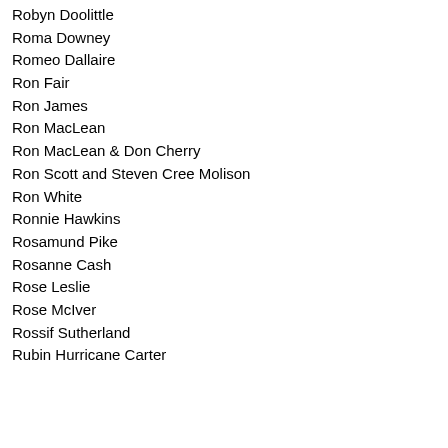Robyn Doolittle
Roma Downey
Romeo Dallaire
Ron Fair
Ron James
Ron MacLean
Ron MacLean & Don Cherry
Ron Scott and Steven Cree Molison
Ron White
Ronnie Hawkins
Rosamund Pike
Rosanne Cash
Rose Leslie
Rose McIver
Rossif Sutherland
Rubin Hurricane Carter